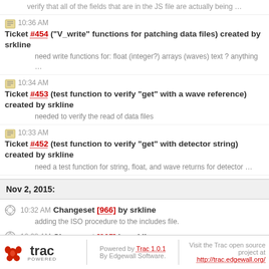verify that all of the fields that are in the JS file are actually being …
10:36 AM Ticket #454 ("V_write" functions for patching data files) created by srkline
need write functions for: float (integer?) arrays (waves) text ? anything …
10:34 AM Ticket #453 (test function to verify "get" with a wave reference) created by srkline
needed to verify the read of data files
10:33 AM Ticket #452 (test function to verify "get" with detector string) created by srkline
need a test function for string, float, and wave returns for detector …
Nov 2, 2015:
10:32 AM Changeset [966] by srkline
adding the ISO procedure to the includes file.
10:28 AM Changeset [965] by srkline
intermediate changes to the VSANS r/w routines, a utility for processing …
Note: See TracTimeline for information about the timeline view.
Download in other formats:
RSS Feed
Powered by Trac 1.0.1 By Edgewall Software. Visit the Trac open source project at http://trac.edgewall.org/